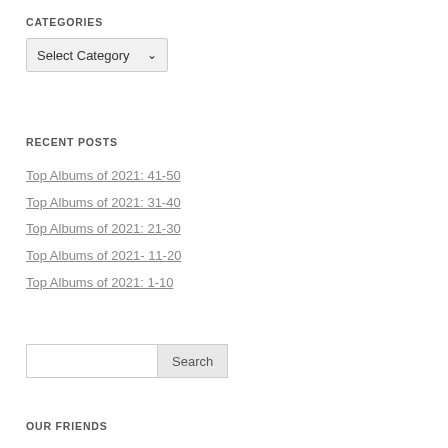CATEGORIES
Select Category (dropdown)
RECENT POSTS
Top Albums of 2021: 41-50
Top Albums of 2021: 31-40
Top Albums of 2021: 21-30
Top Albums of 2021- 11-20
Top Albums of 2021: 1-10
Search
OUR FRIENDS